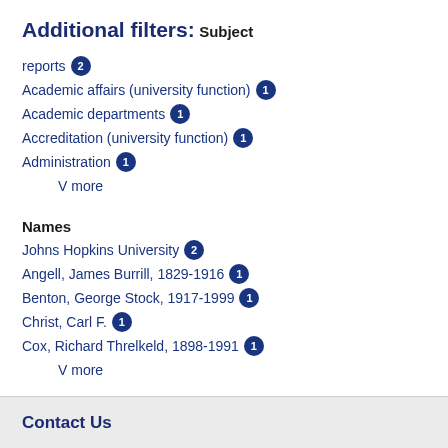Additional filters:
Subject
reports 2
Academic affairs (university function) 1
Academic departments 1
Accreditation (university function) 1
Administration 1
V more
Names
Johns Hopkins University 2
Angell, James Burrill, 1829-1916 1
Benton, George Stock, 1917-1999 1
Christ, Carl F. 1
Cox, Richard Threlkeld, 1898-1991 1
V more
Contact Us